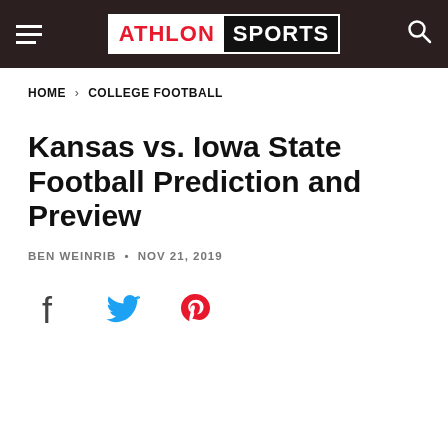ATHLON SPORTS
HOME › COLLEGE FOOTBALL
Kansas vs. Iowa State Football Prediction and Preview
BEN WEINRIB • NOV 21, 2019
[Figure (other): Social sharing icons: Facebook, Twitter, Pinterest]